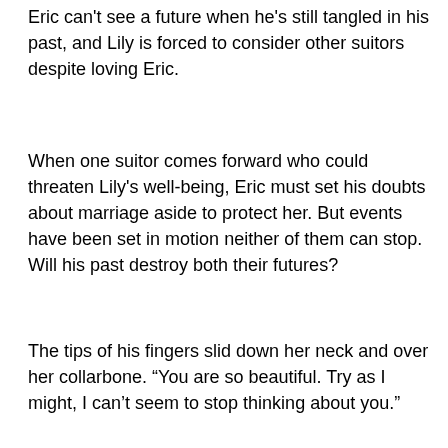Eric can't see a future when he's still tangled in his past, and Lily is forced to consider other suitors despite loving Eric.
When one suitor comes forward who could threaten Lily's well-being, Eric must set his doubts about marriage aside to protect her. But events have been set in motion neither of them can stop. Will his past destroy both their futures?
The tips of his fingers slid down her neck and over her collarbone. “You are so beautiful. Try as I might, I can’t seem to stop thinking about you.”